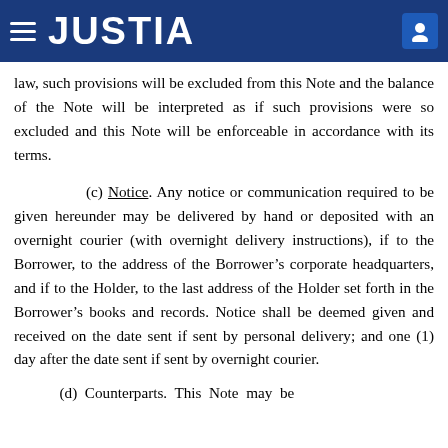JUSTIA
law, such provisions will be excluded from this Note and the balance of the Note will be interpreted as if such provisions were so excluded and this Note will be enforceable in accordance with its terms.
(c) Notice. Any notice or communication required to be given hereunder may be delivered by hand or deposited with an overnight courier (with overnight delivery instructions), if to the Borrower, to the address of the Borrower’s corporate headquarters, and if to the Holder, to the last address of the Holder set forth in the Borrower’s books and records. Notice shall be deemed given and received on the date sent if sent by personal delivery; and one (1) day after the date sent if sent by overnight courier.
(d) Counterparts. This Note may be